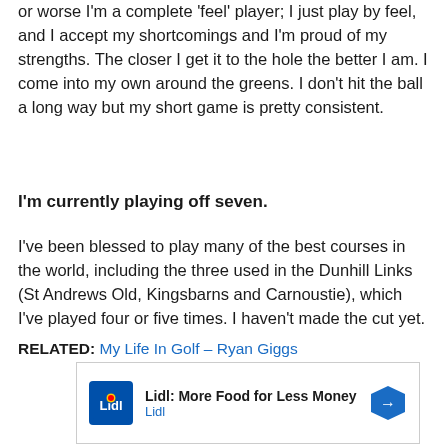or worse I'm a complete 'feel' player; I just play by feel, and I accept my shortcomings and I'm proud of my strengths. The closer I get it to the hole the better I am. I come into my own around the greens. I don't hit the ball a long way but my short game is pretty consistent.
I'm currently playing off seven.
I've been blessed to play many of the best courses in the world, including the three used in the Dunhill Links (St Andrews Old, Kingsbarns and Carnoustie), which I've played four or five times. I haven't made the cut yet.
RELATED: My Life In Golf – Ryan Giggs
[Figure (other): Lidl advertisement banner: Lidl: More Food for Less Money, Lidl logo and navigation arrow icon]